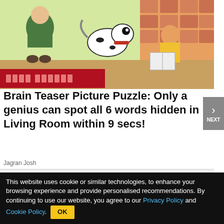[Figure (illustration): Cartoon illustration of a living room scene with a person, dog, and child reading a book, with colorful tiles/bricks in background]
Brain Teaser Picture Puzzle: Only a genius can spot all 6 words hidden in Living Room within 9 secs!
Jagran Josh
[Figure (illustration): Illustration of a person lying down in pain with lightning bolt near foot, possibly depicting leg cramp or pain]
Leesburg OPEN 10AM–9PM
This website uses cookie or similar technologies, to enhance your browsing experience and provide personalised recommendations. By continuing to use our website, you agree to our Privacy Policy and Cookie Policy. OK